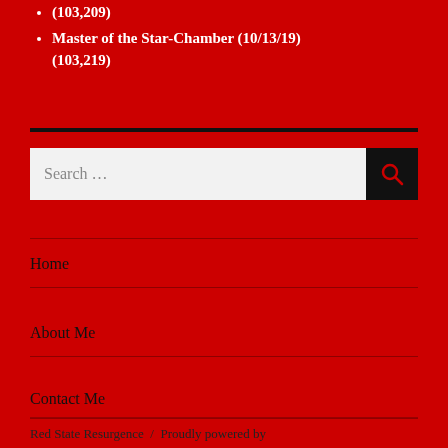(103,209)
Master of the Star-Chamber (10/13/19) (103,219)
[Figure (other): Search bar with text input field showing 'Search ...' placeholder and a black search button with magnifying glass icon]
Home
About Me
Contact Me
Red State Resurgence  /  Proudly powered by